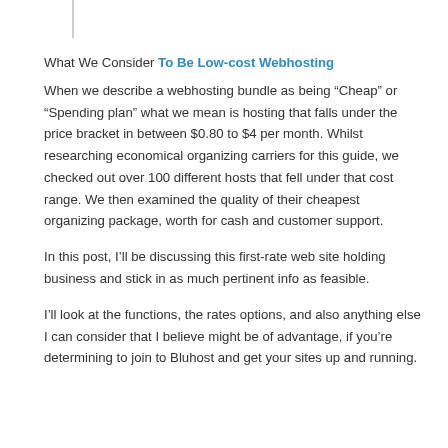What We Consider To Be Low-cost Webhosting
When we describe a webhosting bundle as being “Cheap” or “Spending plan” what we mean is hosting that falls under the price bracket in between $0.80 to $4 per month. Whilst researching economical organizing carriers for this guide, we checked out over 100 different hosts that fell under that cost range. We then examined the quality of their cheapest organizing package, worth for cash and customer support.
In this post, I’ll be discussing this first-rate web site holding business and stick in as much pertinent info as feasible.
I’ll look at the functions, the rates options, and also anything else I can consider that I believe might be of advantage, if you’re determining to join to Bluhost and get your sites up and running.